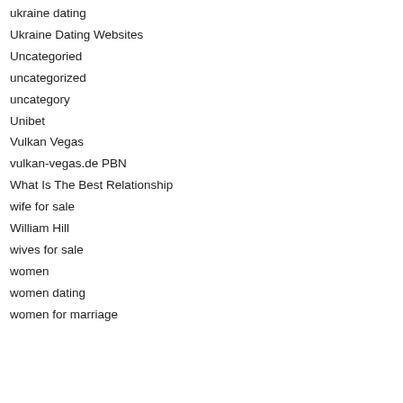ukraine dating
Ukraine Dating Websites
Uncategoried
uncategorized
uncategory
Unibet
Vulkan Vegas
vulkan-vegas.de PBN
What Is The Best Relationship
wife for sale
William Hill
wives for sale
women
women dating
women for marriage